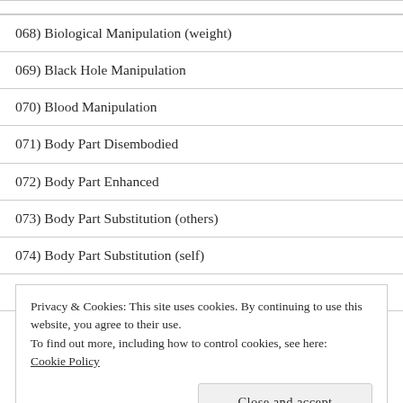068) Biological Manipulation (weight)
069) Black Hole Manipulation
070) Blood Manipulation
071) Body Part Disembodied
072) Body Part Enhanced
073) Body Part Substitution (others)
074) Body Part Substitution (self)
075) Bone Manipulation
Privacy & Cookies: This site uses cookies. By continuing to use this website, you agree to their use.
To find out more, including how to control cookies, see here: Cookie Policy